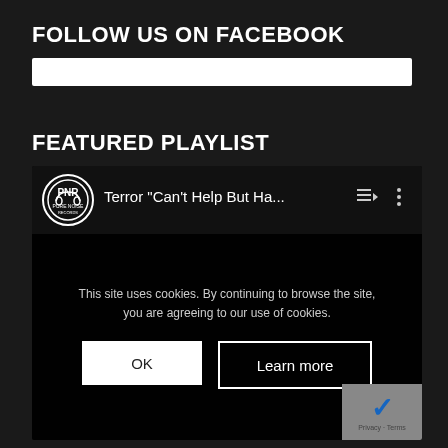FOLLOW US ON FACEBOOK
[Figure (other): White Facebook plugin/search bar]
FEATURED PLAYLIST
[Figure (screenshot): YouTube playlist embed showing 'Terror Can't Help But Ha...' with cookie consent overlay displaying OK and Learn more buttons, and reCAPTCHA badge in bottom right corner]